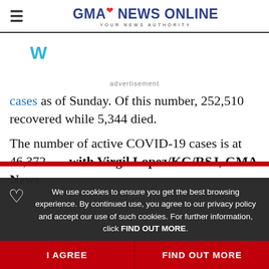GMA NEWS ONLINE — YOUR NEWS AUTHORITY
[Figure (logo): Twitter/W icon in cyan color, advertisement placeholder area]
advertisement
cases as of Sunday. Of this number, 252,510 recovered while 5,344 died.
The number of active COVID-19 cases is at 46,372. — with Virgil Lopez/KG/RSJ, GMA News
We use cookies to ensure you get the best browsing experience. By continued use, you agree to our privacy policy and accept our use of such cookies. For further information, click FIND OUT MORE.
I AGREE
FIND OUT MORE